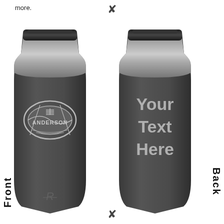more.
[Figure (photo): Two dark grey/black insulated tumblers shown side by side. The front tumbler has a laser-engraved football design with 'Anderson' written across it. The back tumbler shows engraved text 'Your Text Here'. Both tumblers have a metallic silver rim at the top. The front tumbler has 'Front' label on the left side rotated vertically, the back tumbler has 'Back' label on the right side rotated vertically.]